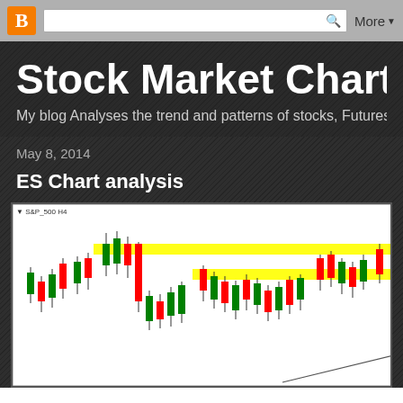Blogger nav bar with B icon, search box, More dropdown
Stock Market Chart Ana…
My blog Analyses the trend and patterns of stocks, Futures, Commod…
May 8, 2014
ES Chart analysis
[Figure (screenshot): S&P 500 H4 candlestick chart showing price action with two yellow horizontal resistance zones highlighted and an ascending trendline drawn in the lower right area.]